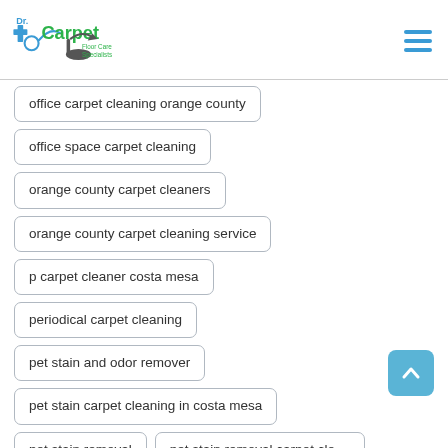[Figure (logo): Dr. Carpet Floor Care Specialists logo with medical cross and carpet silhouette]
office carpet cleaning orange county
office space carpet cleaning
orange county carpet cleaners
orange county carpet cleaning service
p carpet cleaner costa mesa
periodical carpet cleaning
pet stain and odor remover
pet stain carpet cleaning in costa mesa
pet stain removal
pet stain removal carpet cleaning